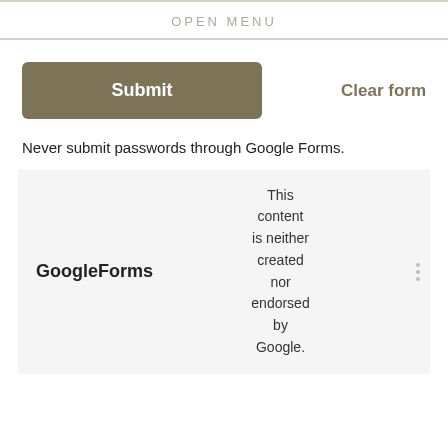OPEN MENU
Submit   Clear form
Never submit passwords through Google Forms.
[Figure (screenshot): Google Forms logo on the left and disclaimer text: 'This content is neither created nor endorsed by Google.' on the right, inside a light gray box with three vertical dots icon on the far right.]